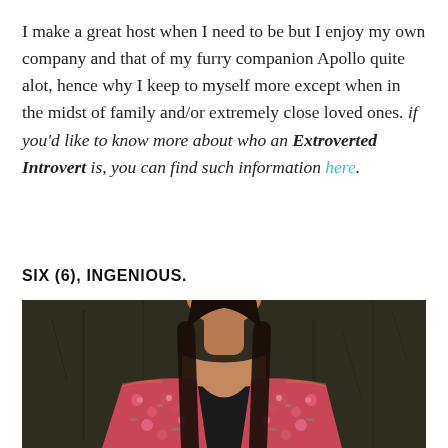I make a great host when I need to be but I enjoy my own company and that of my furry companion Apollo quite alot, hence why I keep to myself more except when in the midst of family and/or extremely close loved ones. if you'd like to know more about who an Extroverted Introvert is, you can find such information here.
SIX (6), INGENIOUS.
[Figure (photo): A woman in a floral/patterned pink and grey blazer over a black top, photographed from the neck down against a dark textured background]